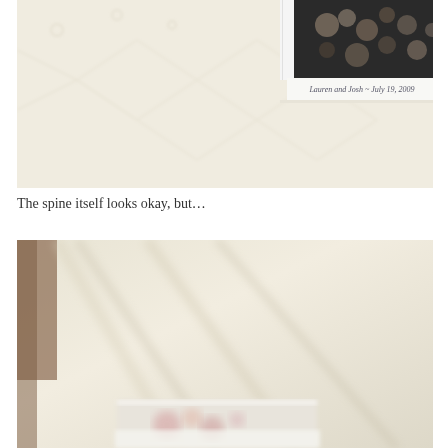[Figure (photo): Close-up photo of a white textured fabric/cloth cover with a diamond/geometric pattern, with a book visible at the top showing a dark floral cover and text reading 'Lauren and Josh ~ July 19, 2009']
The spine itself looks okay, but…
[Figure (photo): Close-up blurred photo of white fabric/cloth material, with a partially visible book or album at the bottom showing floral imagery]